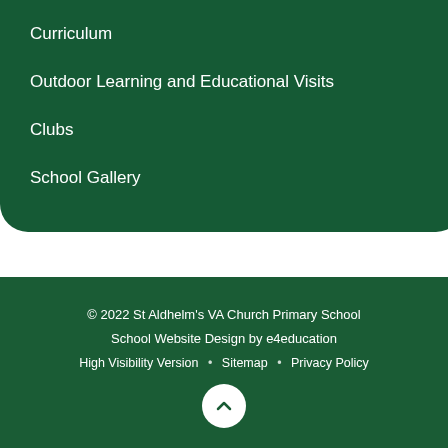Curriculum
Outdoor Learning and Educational Visits
Clubs
School Gallery
© 2022 St Aldhelm's VA Church Primary School
School Website Design by e4education
High Visibility Version • Sitemap • Privacy Policy